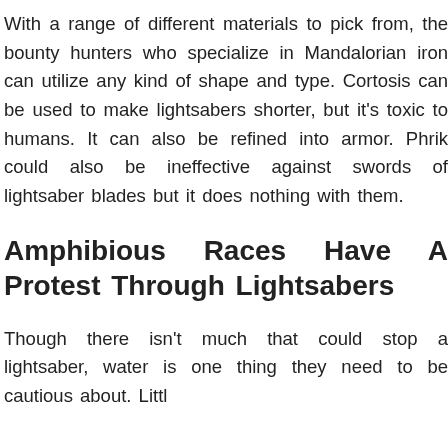With a range of different materials to pick from, the bounty hunters who specialize in Mandalorian iron can utilize any kind of shape and type. Cortosis can be used to make lightsabers shorter, but it's toxic to humans. It can also be refined into armor. Phrik could also be ineffective against swords of lightsaber blades but it does nothing with them.
Amphibious Races Have A Protest Through Lightsabers
Though there isn't much that could stop a lightsaber, water is one thing they need to be cautious about. Littl